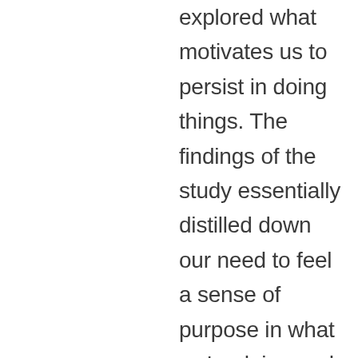explored what motivates us to persist in doing things. The findings of the study essentially distilled down our need to feel a sense of purpose in what we're doing and to have a constant feedback loop of